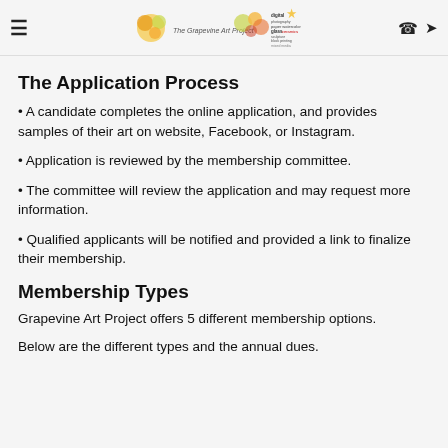The Grapevine Art Project [logo/header]
The Application Process
A candidate completes the online application, and provides samples of their art on website, Facebook, or Instagram.
Application is reviewed by the membership committee.
The committee will review the application and may request more information.
Qualified applicants will be notified and provided a link to finalize their membership.
Membership Types
Grapevine Art Project offers 5 different membership options.
Below are the different types and the annual dues.